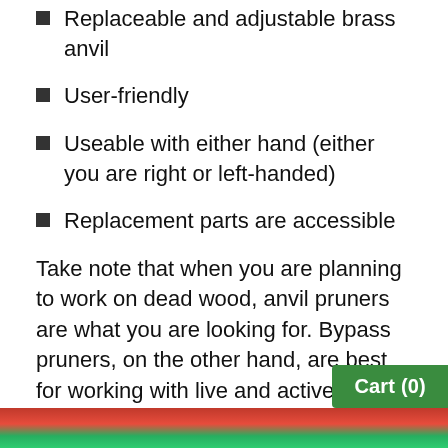Replaceable and adjustable brass anvil
User-friendly
Useable with either hand (either you are right or left-handed)
Replacement parts are accessible
Take note that when you are planning to work on dead wood, anvil pruners are what you are looking for. Bypass pruners, on the other hand, are best for working with live and active wood. Always take this into consideration when picking the right pruners for your tasks
[Figure (photo): Colorful image at the bottom of the page, partially visible]